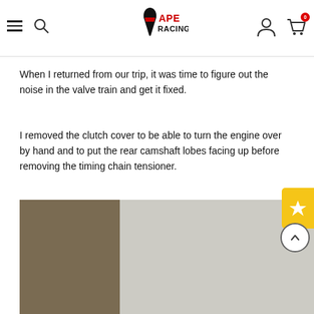APE RACING — navigation bar with hamburger menu, search, logo, user icon, cart (0)
When I returned from our trip, it was time to figure out the noise in the valve train and get it fixed.
I removed the clutch cover to be able to turn the engine over by hand and to put the rear camshaft lobes facing up before removing the timing chain tensioner.
When I removed the tensioner, I left the bolt and spring in because it made sense for me to see what it did when I pulled it out. I expected the tensioner to extend out as far as possible, but, no, it was completely stuck about 1/3 of the way out and would not extend anymore.
[Figure (photo): Close-up photograph of a motorcycle engine component — left portion shows a brownish-tan metal surface, right portion shows a lighter grey/white textured metal surface. Likely the timing chain tensioner area.]